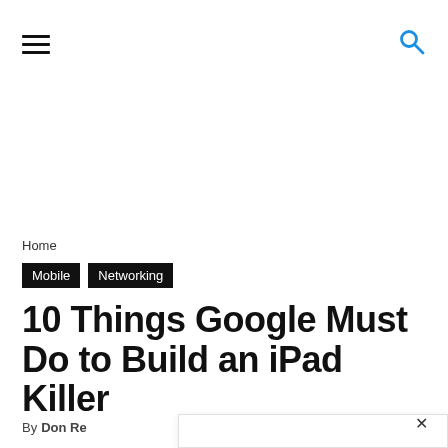≡ [hamburger menu] [search icon]
Home
Mobile  Networking
10 Things Google Must Do to Build an iPad Killer
By Don Re